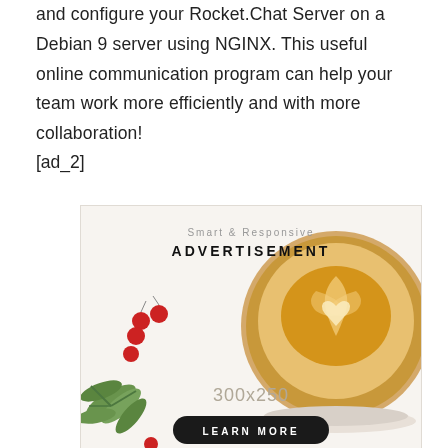and configure your Rocket.Chat Server on a Debian 9 server using NGINX. This useful online communication program can help your team work more efficiently and with more collaboration!
[ad_2]
[Figure (other): Advertisement placeholder image showing a coffee cup with latte art and decorative berries/holly on the left side. Text reads 'Smart & Responsive ADVERTISEMENT 300x250' with a 'LEARN MORE' button.]